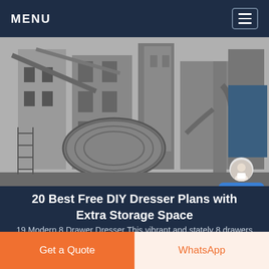MENU
[Figure (photo): Industrial machinery facility showing cement/mining equipment including a large cylindrical ball mill, silos, pipes, and structural steel framework in grayscale. A chat agent avatar with a 'Free chat' blue bubble is overlaid in the bottom-right corner.]
20 Best Free DIY Dresser Plans with Extra Storage Space
19 Modern 8 Drawer Dresser This vibrant and stately 8 drawers dresser is perfect to complement any room s decor The color scheme is subtle and
Get a Quote
WhatsApp